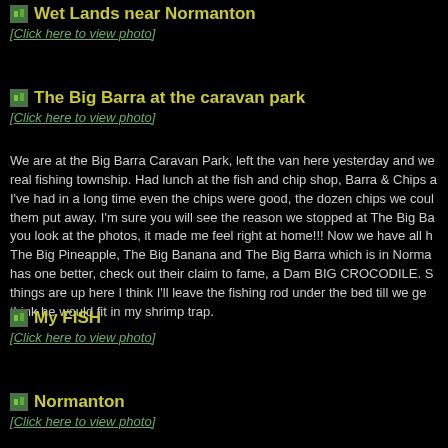Wet Lands near Normanton
[Click here to view photo]
The Big Barra at the caravan park
[Click here to view photo]
We are at the Big Barra Caravan Park, left the van here yesterday and we real fishing township. Had lunch at the fish and chip shop, Barra & Chips a I've had in a long time even the chips were good, the dozen chips we coul them put away. I'm sure you will see the reason we stopped at The Big Ba you look at the photos, it made me feel right at home!!! Now we have all h The Big Pineapple, The Big Banana and The Big Barra which is in Norma has one better, check out their claim to fame, a Dam BIG CROCODILE. S things are up here I think I'll leave the fishing rod under the bed till we ge think he would fit in my shrimp trap.
My FISH
[Click here to view photo]
Normanton
[Click here to view photo]